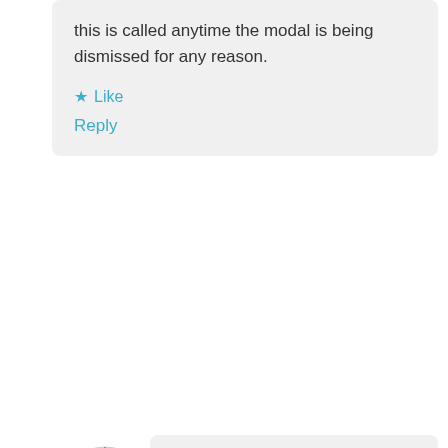this is called anytime the modal is being dismissed for any reason.
★ Like
Reply
Shubham Sharma
September 12, 2018 at 1:21 am
Doug!!! if you are clicking on cancel it will redirect you to new record page at that time you will not have any record id so like that i override cancel button and for save you will get the